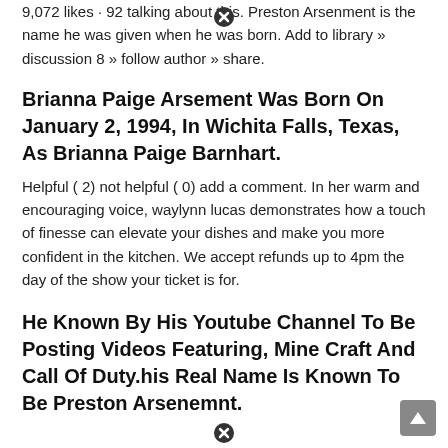9,072 likes · 92 talking about this. Preston Arsenment is the name he was given when he was born. Add to library » discussion 8 » follow author » share.
Brianna Paige Arsement Was Born On January 2, 1994, In Wichita Falls, Texas, As Brianna Paige Barnhart.
Helpful ( 2) not helpful ( 0) add a comment. In her warm and encouraging voice, waylynn lucas demonstrates how a touch of finesse can elevate your dishes and make you more confident in the kitchen. We accept refunds up to 4pm the day of the show your ticket is for.
He Known By His Youtube Channel To Be Posting Videos Featuring, Mine Craft And Call Of Duty.his Real Name Is Known To Be Preston Arsenemnt.